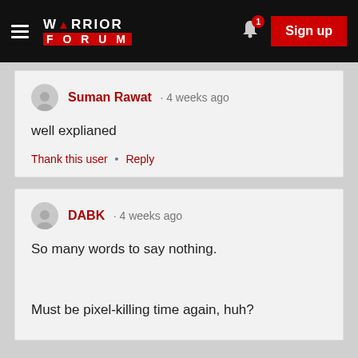Warrior Forum · Sign up
Suman Rawat · 4 weeks ago
well explianed
Thank this user • Reply
DABK · 4 weeks ago
So many words to say nothing.
Must be pixel-killing time again, huh?